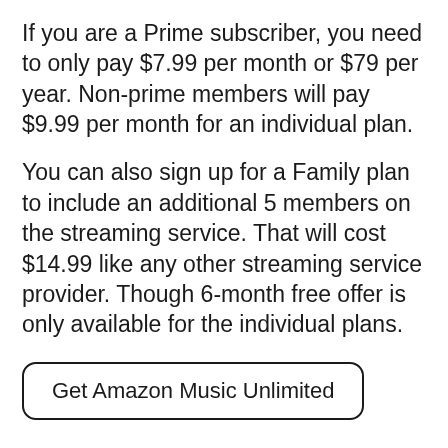If you are a Prime subscriber, you need to only pay $7.99 per month or $79 per year. Non-prime members will pay $9.99 per month for an individual plan.
You can also sign up for a Family plan to include an additional 5 members on the streaming service. That will cost $14.99 like any other streaming service provider. Though 6-month free offer is only available for the individual plans.
Get Amazon Music Unlimited